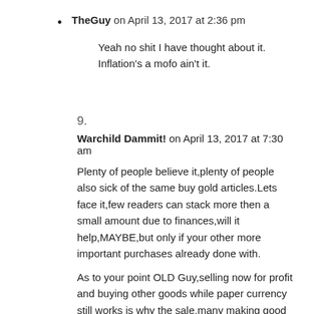TheGuy on April 13, 2017 at 2:36 pm
Yeah no shit I have thought about it. Inflation’s a mofo ain’t it.
9.
Warchild Dammit! on April 13, 2017 at 7:30 am
Plenty of people believe it,plenty of people also sick of the same buy gold articles.Lets face it,few readers can stack more then a small amount due to finances,will it help,MAYBE,but only if your other more important purchases already done with.
As to your point OLD Guy,selling now for profit and buying other goods while paper currency still works is why the sale,many making good profits and realize a